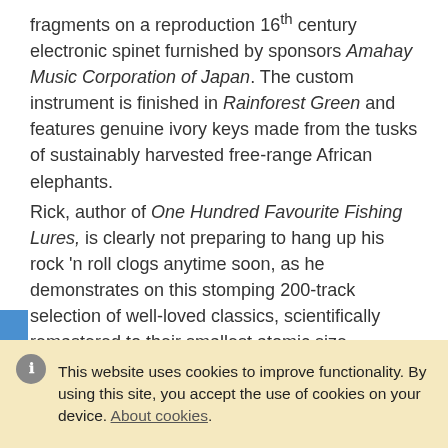fragments on a reproduction 16th century electronic spinet furnished by sponsors Amahay Music Corporation of Japan. The custom instrument is finished in Rainforest Green and features genuine ivory keys made from the tusks of sustainably harvested free-range African elephants.
Rick, author of One Hundred Favourite Fishing Lures, is clearly not preparing to hang up his rock 'n roll clogs anytime soon, as he demonstrates on this stomping 200-track selection of well-loved classics, scientifically remastered to their smallest atomic size.
Download these tracks:
Dvorak's Humoresque (bars 28-32), the hummable bits from 4'33" by John Cage, Hey Big Spender (chorus only) with guest appearances by Shirley Bassey and Elton John.
WAITER, THERE'S A GULL IN MY SOUP
This website uses cookies to improve functionality. By using this site, you accept the use of cookies on your device. About cookies.